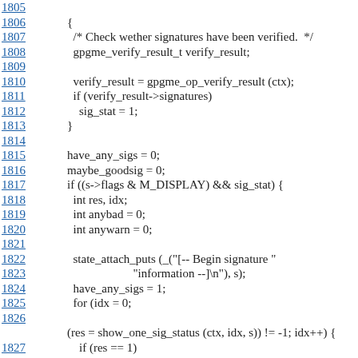Code listing lines 1805-1828 showing C source code for signature verification logic including gpgme_verify_result, sig_stat, have_any_sigs, maybe_goodsig, state_attach_puts, and show_one_sig_status functions.